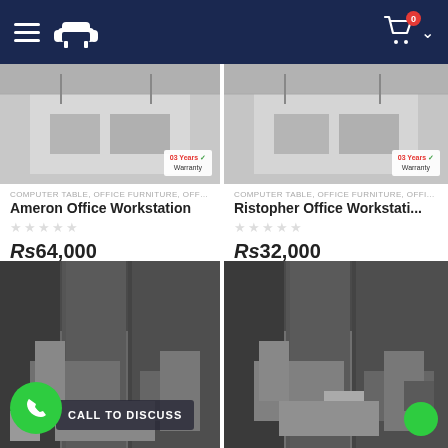Navigation header with hamburger menu, sofa icon, cart (0 items), chevron
[Figure (photo): Office workstation product image with 03 Years Warranty badge]
COMPUTER TABLE, OFFICE FURNITURE, OFFI...
Ameron Office Workstation
Rs64,000
ADD TO CART
[Figure (photo): Office workstation product image with 03 Years Warranty badge]
COMPUTER TABLE, OFFICE FURNITURE, OFFI...
Ristopher Office Workstati...
Rs32,000
ADD TO CART
[Figure (photo): Modern office furniture showroom interior]
CALL TO DISCUSS
[Figure (photo): Modern office furniture showroom interior with workstation]